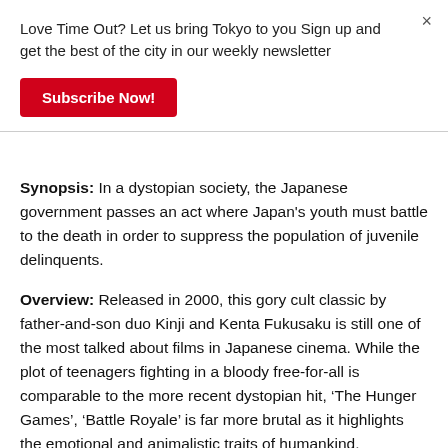Love Time Out? Let us bring Tokyo to you Sign up and get the best of the city in our weekly newsletter
Subscribe Now!
Synopsis: In a dystopian society, the Japanese government passes an act where Japan's youth must battle to the death in order to suppress the population of juvenile delinquents.
Overview: Released in 2000, this gory cult classic by father-and-son duo Kinji and Kenta Fukusaku is still one of the most talked about films in Japanese cinema. While the plot of teenagers fighting in a bloody free-for-all is comparable to the more recent dystopian hit, ‘The Hunger Games’, ‘Battle Royale’ is far more brutal as it highlights the emotional and animalistic traits of humankind.